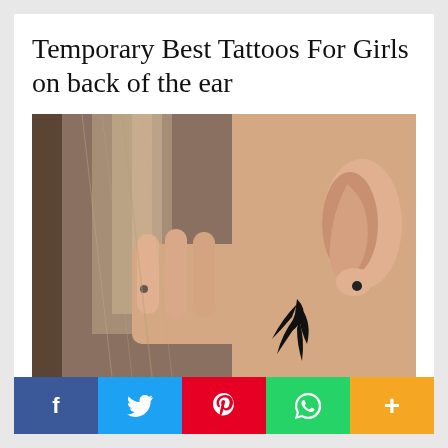Temporary Best Tattoos For Girls on back of the ear
[Figure (photo): Close-up photo of the back of a woman's ear showing a small black bird/swallow tattoo. Her hand is pulling her hair back to reveal the tattoo. She has a black stud earring.]